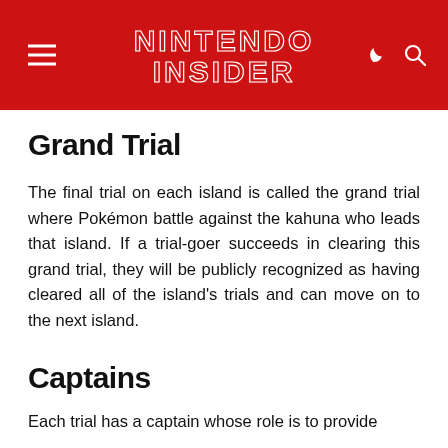NINTENDO INSIDER
Grand Trial
The final trial on each island is called the grand trial where Pokémon battle against the kahuna who leads that island. If a trial-goer succeeds in clearing this grand trial, they will be publicly recognized as having cleared all of the island's trials and can move on to the next island.
Captains
Each trial has a captain whose role is to provide